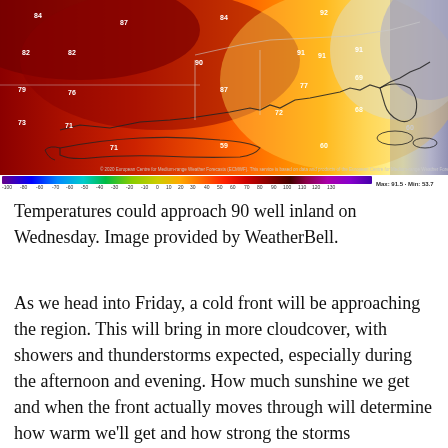[Figure (map): Weather temperature map of New England / northeastern US region showing heat distribution with a color gradient from purple/blue (cool) to deep red/dark red (very warm, 90+°F). Temperature values labeled at various points across the map. Color scale bar at bottom ranging from -100 to 130. Copyright notice: European Centre for Medium-range Weather Forecasts (ECMWF). Max: 91.5, Min: 53.7.]
Temperatures could approach 90 well inland on Wednesday. Image provided by WeatherBell.
As we head into Friday, a cold front will be approaching the region. This will bring in more cloudcover, with showers and thunderstorms expected, especially during the afternoon and evening. How much sunshine we get and when the front actually moves through will determine how warm we'll get and how strong the storms